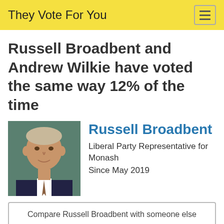They Vote For You
Russell Broadbent and Andrew Wilkie have voted the same way 12% of the time
[Figure (photo): Portrait photo of Russell Broadbent, older man in suit, green background]
Russell Broadbent
Liberal Party Representative for Monash
Since May 2019
Compare Russell Broadbent with someone else
[Figure (photo): Portrait photo of Andrew Wilkie, partial view]
Andrew Wilkie